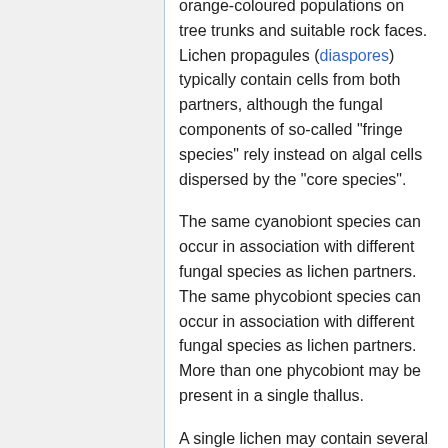orange-coloured populations on tree trunks and suitable rock faces. Lichen propagules (diaspores) typically contain cells from both partners, although the fungal components of so-called "fringe species" rely instead on algal cells dispersed by the "core species".
The same cyanobiont species can occur in association with different fungal species as lichen partners. The same phycobiont species can occur in association with different fungal species as lichen partners. More than one phycobiont may be present in a single thallus.
A single lichen may contain several algal genotypes. These multiple genotypes may better enable response to adaptation to environmental changes, and enable the lichen to inhabit a wider